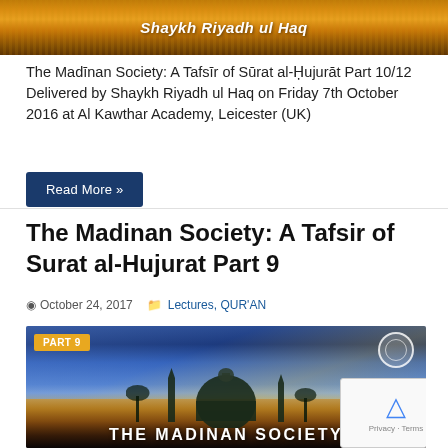[Figure (photo): Banner image with desert/sand dunes background in warm orange tones with the text 'Shaykh Riyadh ul Haq' in white italic font centered on it.]
The Madīnan Society: A Tafsīr of Sūrat al-Ḥujurāt Part 10/12 Delivered by Shaykh Riyadh ul Haq on Friday 7th October 2016 at Al Kawthar Academy, Leicester (UK)
Read More »
The Madinan Society: A Tafsir of Surat al-Hujurat Part 9
© October 24, 2017   📁 Lectures, QUR'AN
[Figure (photo): Banner image for 'The Madinan Society' Part 9, showing a mosque silhouette against a dramatic sky with palm trees, with a 'PART 9' badge in orange on the top left, a circular logo on the top right, and 'THE MADINAN SOCIETY' text in large white letters at the bottom.]